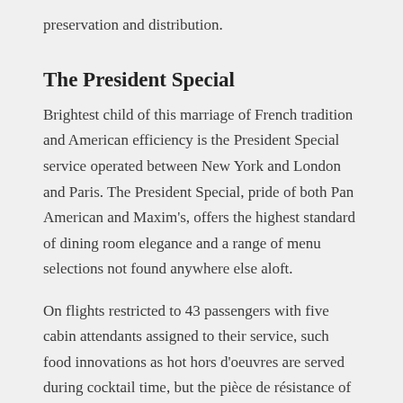preservation and distribution.
The President Special
Brightest child of this marriage of French tradition and American efficiency is the President Special service operated between New York and London and Paris. The President Special, pride of both Pan American and Maxim's, offers the highest standard of dining room elegance and a range of menu selections not found anywhere else aloft.
On flights restricted to 43 passengers with five cabin attendants assigned to their service, such food innovations as hot hors d'oeuvres are served during cocktail time, but the pièce de résistance of the President Special is the main course or rather any one of three gourmet selections.